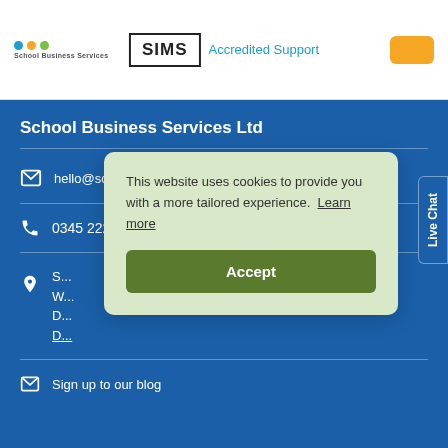[Figure (logo): Colorful dot logo with small text 'School Business Services']
[Figure (logo): SIMS Accredited Support badge]
School Business Services Ltd
hello@schoolbusinessservices.co.uk
0345 222 1551
S... W... D... D...
Sign up to our blog
This website uses cookies to provide you with a more tailored experience. Learn more
Accept